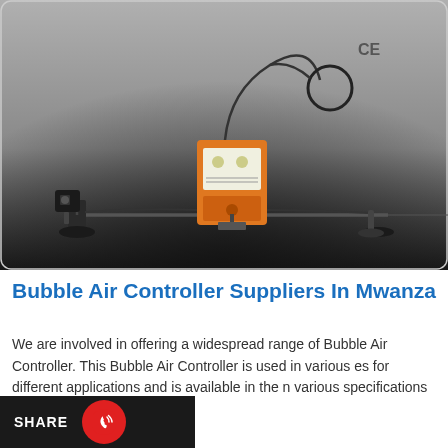[Figure (photo): Product photo of a Bubble Air Controller device — an orange box-shaped unit with dials and controls, mounted on a rod/bar setup with suction cup feet and connected cables/tubing, displayed against a grey gradient background with CE mark visible.]
Bubble Air Controller Suppliers In Mwanza
We are involved in offering a widespread range of Bubble Air Controller. This Bubble Air Controller is used in various es for different applications and is available in the n various specifications according to the exact needs